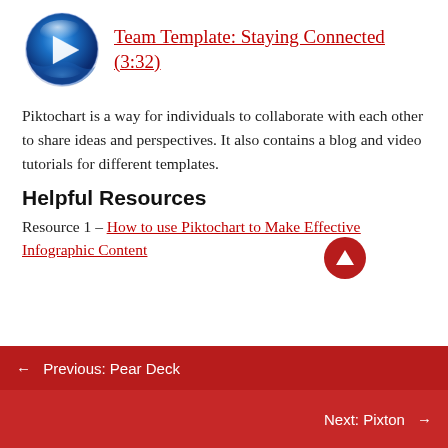[Figure (other): Blue circular play button icon with a white triangle/arrow pointing right, styled with a glossy 3D effect]
Team Template: Staying Connected (3:32)
Piktochart is a way for individuals to collaborate with each other to share ideas and perspectives. It also contains a blog and video tutorials for different templates.
Helpful Resources
Resource 1 – How to use Piktochart to Make Effective Infographic Content
[Figure (other): Dark red circular up-arrow button]
← Previous: Pear Deck
Next: Pixton →